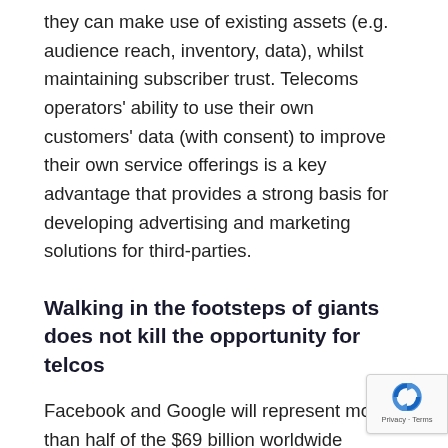they can make use of existing assets (e.g. audience reach, inventory, data), whilst maintaining subscriber trust. Telecoms operators' ability to use their own customers' data (with consent) to improve their own service offerings is a key advantage that provides a strong basis for developing advertising and marketing solutions for third-parties.
Walking in the footsteps of giants does not kill the opportunity for telcos
Facebook and Google will represent more than half of the $69 billion worldwide mobile-advertising market in 2015. This dominance has